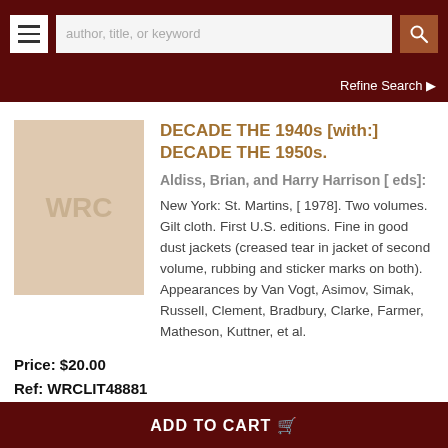author, title, or keyword | Refine Search
[Figure (illustration): Placeholder book cover image with WRC text on beige/tan background]
DECADE THE 1940s [with:] DECADE THE 1950s.
Aldiss, Brian, and Harry Harrison [ eds]:
New York: St. Martins, [ 1978]. Two volumes. Gilt cloth. First U.S. editions. Fine in good dust jackets (creased tear in jacket of second volume, rubbing and sticker marks on both). Appearances by Van Vogt, Asimov, Simak, Russell, Clement, Bradbury, Clarke, Farmer, Matheson, Kuttner, et al.
Price: $20.00
Ref: WRCLIT48881
ADD TO CART